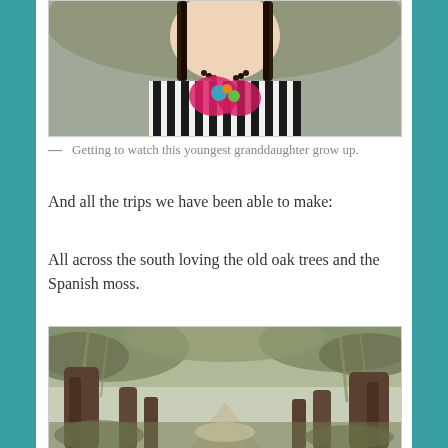[Figure (photo): Photo of a young girl wearing a black and white striped top with colorful floral details and a beaded necklace, cropped to show from shoulders up]
— Getting to watch this youngest granddaughter grow up.
And all the trips we have been able to make:
All across the south loving the old oak trees and the Spanish moss.
[Figure (photo): Photo of a road or path lined with large old oak trees draped in Spanish moss, creating a canopy overhead, southern landscape]